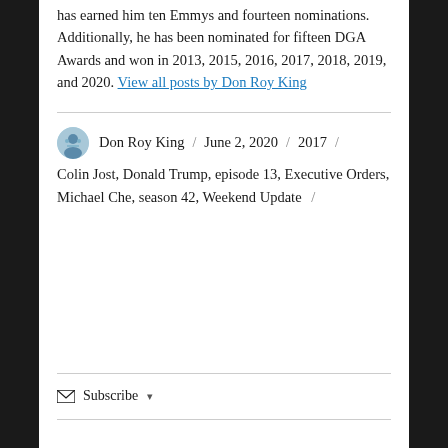has earned him ten Emmys and fourteen nominations. Additionally, he has been nominated for fifteen DGA Awards and won in 2013, 2015, 2016, 2017, 2018, 2019, and 2020. View all posts by Don Roy King
Don Roy King / June 2, 2020 / 2017 / Colin Jost, Donald Trump, episode 13, Executive Orders, Michael Che, season 42, Weekend Update /
Subscribe ▼